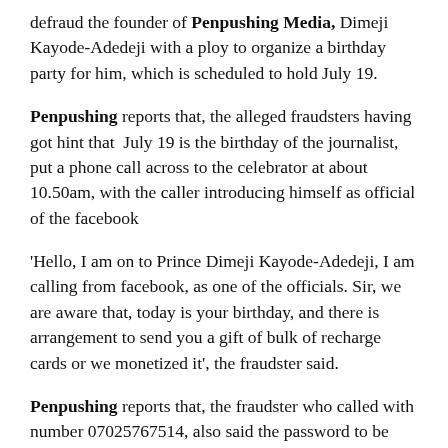defraud the founder of Penpushing Media, Dimeji Kayode-Adedeji with a ploy to organize a birthday party for him, which is scheduled to hold July 19.
Penpushing reports that, the alleged fraudsters having got hint that July 19 is the birthday of the journalist, put a phone call across to the celebrator at about 10.50am, with the caller introducing himself as official of the facebook
'Hello, I am on to Prince Dimeji Kayode-Adedeji, I am calling from facebook, as one of the officials. Sir, we are aware that, today is your birthday, and there is arrangement to send you a gift of bulk of recharge cards or we monetized it', the fraudster said.
Penpushing reports that, the fraudster who called with number 07025767514, also said the password to be used by the celebrant to become a beneficiary of the fraudulent